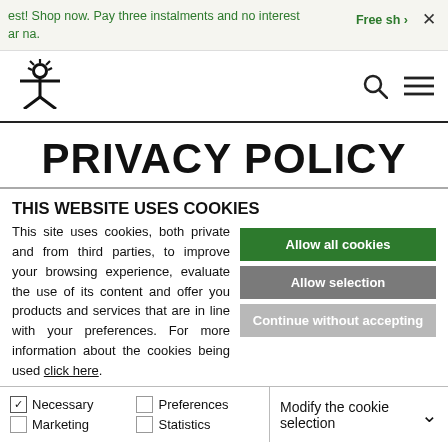est! Shop now. Pay three instalments and no interest ar na.  Free sh ›  ×
[Figure (logo): United Colors of Benetton stylized logo icon]
PRIVACY POLICY
THIS WEBSITE USES COOKIES
This site uses cookies, both private and from third parties, to improve your browsing experience, evaluate the use of its content and offer you products and services that are in line with your preferences. For more information about the cookies being used click here.
Allow all cookies
Allow selection
Continue without accepting
Necessary  Preferences  Statistics  Marketing  Modify the cookie selection